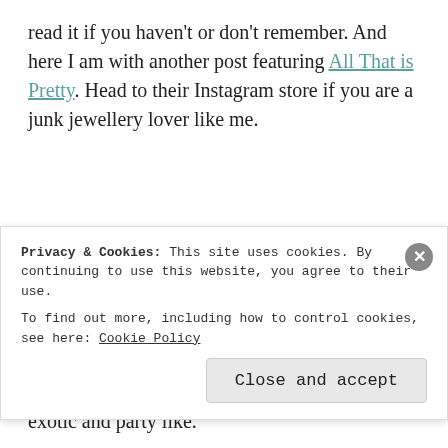read it if you haven't or don't remember. And here I am with another post featuring All That is Pretty. Head to their Instagram store if you are a junk jewellery lover like me.
Advertisements
In this post, I wanted to spotlight this beautiful neck-piece. You can see how a junk jewellery can make a simple and plain red dress look exotic and party like.
Privacy & Cookies: This site uses cookies. By continuing to use this website, you agree to their use.
To find out more, including how to control cookies, see here: Cookie Policy
Close and accept